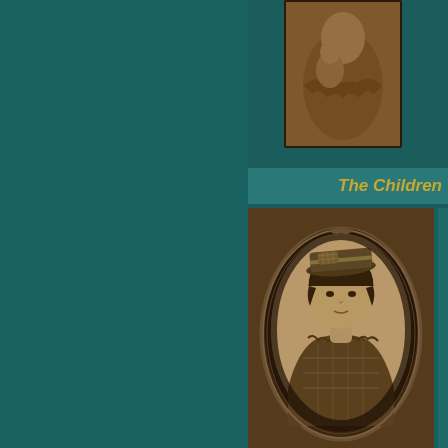[Figure (photo): Sepia-toned historical photograph of a person holding a child, partially visible in top right area]
The Children
[Figure (photo): Oval-framed sepia portrait photograph of a young woman wearing a hat and plaid outfit, approximately 20 years old]
20 years old
Ka
Bo
Se
Ak
Oc
yea
...
G
[Figure (photo): Sepia outdoor photograph showing foliage/plants]
Lyc
Bo